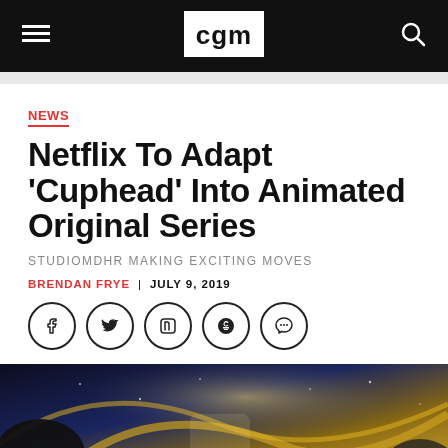cgm
NEWS
Netflix To Adapt 'Cuphead' Into Animated Original Series
STUDIOMDHR MAKING EXCITING MOVES
BRENDAN FRYE | JULY 9, 2019
[Figure (other): Social sharing icons: Facebook, Twitter, LinkedIn, Pinterest, Comment]
[Figure (illustration): Cuphead animated artwork showing cartoon characters in a night sky scene with blue and gold tones]